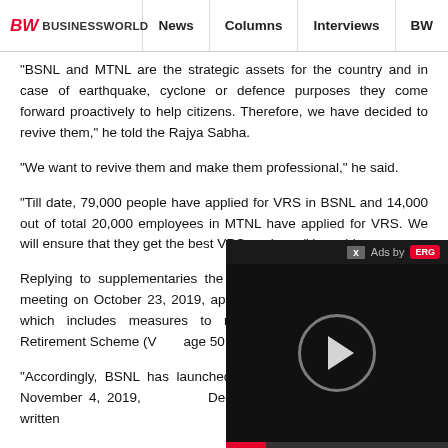BW BUSINESSWORLD | News | Columns | Interviews | BW
"BSNL and MTNL are the strategic assets for the country and in case of earthquake, cyclone or defence purposes they come forward proactively to help citizens. Therefore, we have decided to revive them," he told the Rajya Sabha.
"We want to revive them and make them professional," he said.
"Till date, 79,000 people have applied for VRS in BSNL and 14,000 out of total 20,000 employees in MTNL have applied for VRS. We will ensure that they get the best VRS package," he said.
Replying to supplementaries the minister said the Cabinet in its meeting on October 23, 2019, approved the revival plan for BSNL which includes measures to reduce cost burden by offering Voluntary Retirement Scheme (VRS) to employees of age 50 years and above.
"Accordingly, BSNL has launched 'BSNL Voluntary Retirement Scheme-2019' on November 4, 2019, with closing date of December 3, 2019," he said in his written reply.
[Figure (other): Video ad overlay with play button, progress bar, and 'Ads by' label with ERG logo and close button (x)]